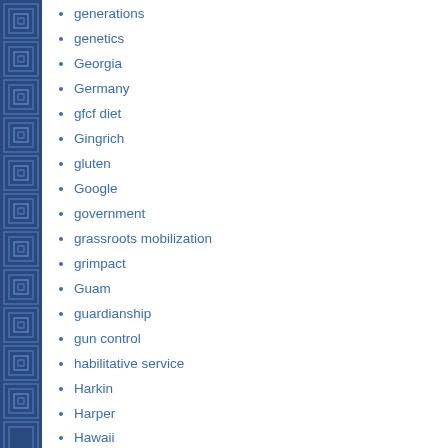[Figure (illustration): Blue decorative sidebar with geometric square pattern on the left edge of the page]
generations
genetics
Georgia
Germany
gfcf diet
Gingrich
gluten
Google
government
grassroots mobilization
grimpact
Guam
guardianship
gun control
habilitative service
Harkin
Harper
Hawaii
HCBS
health care
hh
HHS